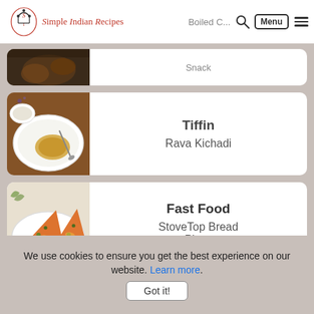Simple Indian Recipes | Snack - Boiled C... | Menu
[Figure (photo): Partial food photo visible at top of page (partially cropped)]
[Figure (photo): Photo of Rava Kichadi on a white plate with a bowl of chutney on a wooden table]
Tiffin
Rava Kichadi
[Figure (photo): Photo of StoveTop Bread Pizza triangles on a white plate]
Fast Food
StoveTop Bread Pizza
We use cookies to ensure you get the best experience on our website. Learn more. Got it!